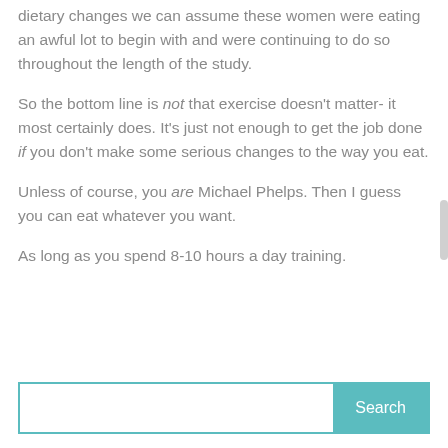dietary changes we can assume these women were eating an awful lot to begin with and were continuing to do so throughout the length of the study.
So the bottom line is not that exercise doesn't matter- it most certainly does. It's just not enough to get the job done if you don't make some serious changes to the way you eat.
Unless of course, you are Michael Phelps. Then I guess you can eat whatever you want.
As long as you spend 8-10 hours a day training.